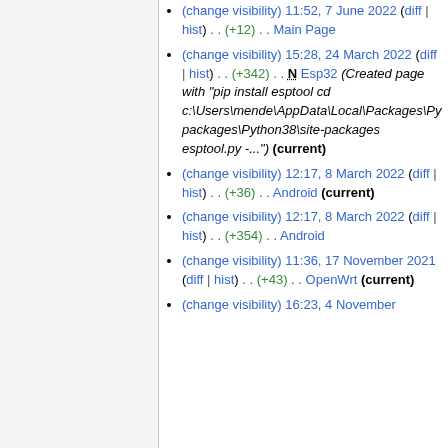(change visibility) 11:52, 7 June 2022 (diff | hist) . . (+12) . . Main Page
(change visibility) 15:28, 24 March 2022 (diff | hist) . . (+342) . . N Esp32 (Created page with "pip install esptool cd c:\Users\mende\AppData\Local\Packages\PythonSoftwareFoundation.Python.3.8_qbz5n2kfra8p0\LocalCache\local-packages\Python38\site-packages esptool.py -...") (current)
(change visibility) 12:17, 8 March 2022 (diff | hist) . . (+36) . . Android (current)
(change visibility) 12:17, 8 March 2022 (diff | hist) . . (+354) . . Android
(change visibility) 11:36, 17 November 2021 (diff | hist) . . (+43) . . OpenWrt (current)
(change visibility) 16:23, 4 November ...